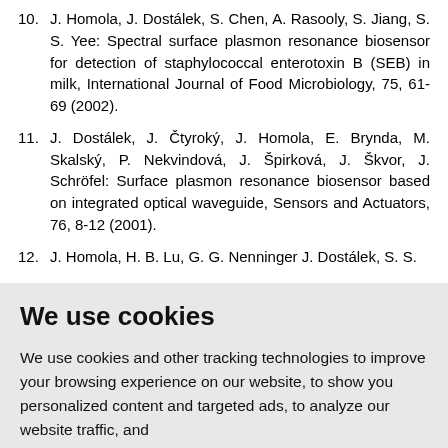10. J. Homola, J. Dostálek, S. Chen, A. Rasooly, S. Jiang, S. S. Yee: Spectral surface plasmon resonance biosensor for detection of staphylococcal enterotoxin B (SEB) in milk, International Journal of Food Microbiology, 75, 61-69 (2002).
11. J. Dostálek, J. Čtyroký, J. Homola, E. Brynda, M. Skalský, P. Nekvindová, J. Špirková, J. Škvor, J. Schröfel: Surface plasmon resonance biosensor based on integrated optical waveguide, Sensors and Actuators, 76, 8-12 (2001).
12. J. Homola, H. B. Lu, G. G. Nenninger J. Dostálek, S. S.
We use cookies
We use cookies and other tracking technologies to improve your browsing experience on our website, to show you personalized content and targeted ads, to analyze our website traffic, and